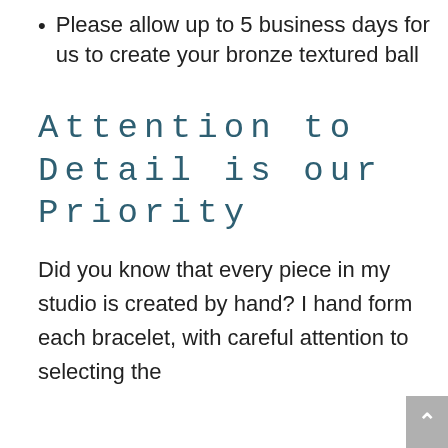Please allow up to 5 business days for us to create your bronze textured ball
Attention to Detail is our Priority
Did you know that every piece in my studio is created by hand? I hand form each bracelet, with careful attention to selecting the